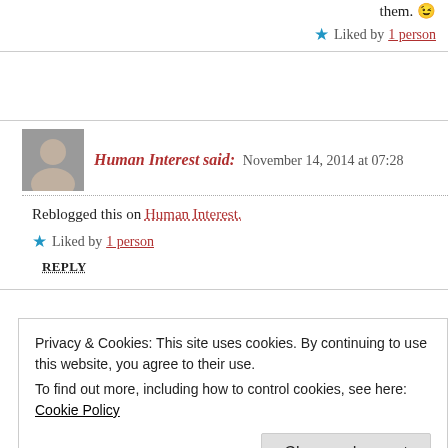them. 😉
★ Liked by 1 person
Human Interest said: November 14, 2014 at 07:28
Reblogged this on Human Interest.
★ Liked by 1 person
REPLY
Privacy & Cookies: This site uses cookies. By continuing to use this website, you agree to their use.
To find out more, including how to control cookies, see here: Cookie Policy
Close and accept
also the gesture of reblogging. Thanks.